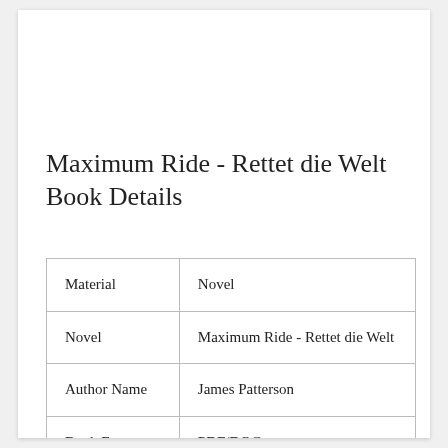Maximum Ride - Rettet die Welt Book Details
| Material | Novel |
| Novel | Maximum Ride - Rettet die Welt |
| Author Name | James Patterson |
| Book Format | PDF/DOC |